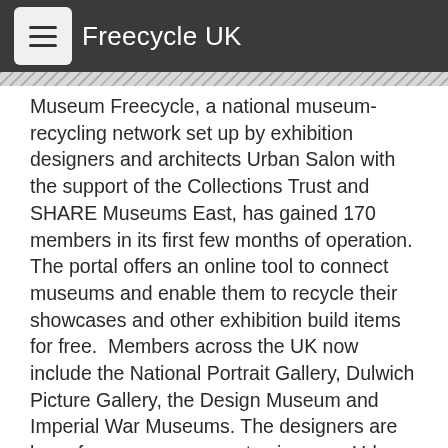Freecycle UK
Museum Freecycle, a national museum-recycling network set up by exhibition designers and architects Urban Salon with the support of the Collections Trust and SHARE Museums East, has gained 170 members in its first few months of operation.  The portal offers an online tool to connect museums and enable them to recycle their showcases and other exhibition build items for free.  Members across the UK now include the National Portrait Gallery, Dulwich Picture Gallery, the Design Museum and Imperial War Museums. The designers are keen for more museums to sign up – Urban Salon managing director Caroline Keppel-Palmer says: "Members have been using the site actively and we have seen museums posting items including mannequins, display cases, plinths and donation boxes. The more members that join, the more effective the network